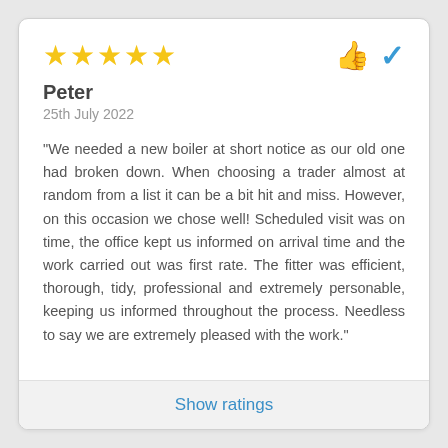[Figure (other): Five gold star rating icons on the left, and a green thumbs-up icon with a blue checkmark icon on the right]
Peter
25th July 2022
"We needed a new boiler at short notice as our old one had broken down. When choosing a trader almost at random from a list it can be a bit hit and miss. However, on this occasion we chose well! Scheduled visit was on time, the office kept us informed on arrival time and the work carried out was first rate. The fitter was efficient, thorough, tidy, professional and extremely personable, keeping us informed throughout the process. Needless to say we are extremely pleased with the work."
Show ratings